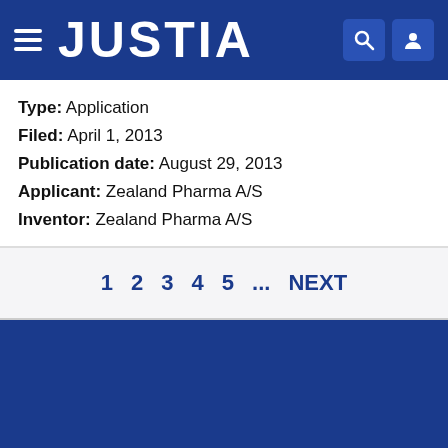JUSTIA
Type: Application
Filed: April 1, 2013
Publication date: August 29, 2013
Applicant: Zealand Pharma A/S
Inventor: Zealand Pharma A/S
1  2  3  4  5  ...  NEXT